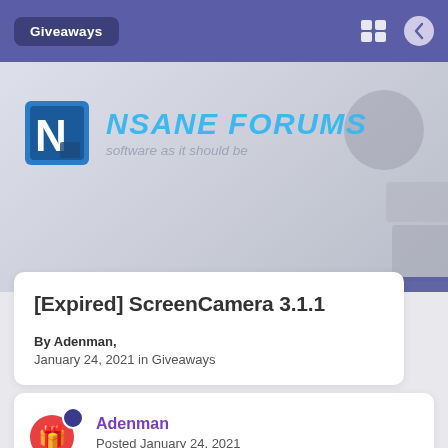Giveaways
[Figure (logo): NSANE FORUMS logo with blue N icon and tagline 'software as it should be']
[Expired] ScreenCamera 3.1.1
By Adenman,
January 24, 2021 in Giveaways
Adenman
Posted January 24, 2021